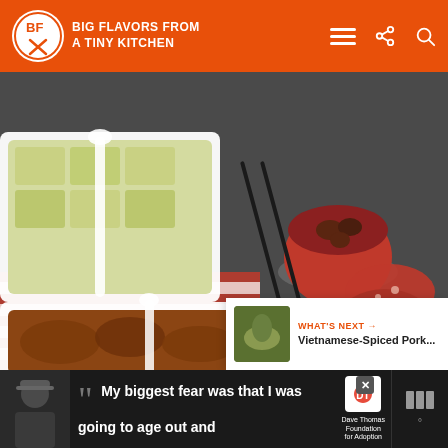BIG FLAVORS FROM A TINY KITCHEN
[Figure (photo): Close-up photo of a charcuterie/cheese board on a dark slate surface. Features white ceramic dishes with food items including crackers and a brown braised dish, small red bowl with dried fruits, salami slices, and cubed cheeses labeled with ceramic markers reading 'Rienzi Romano', 'Smoked Gruyere', and 'St. A...' (partially visible). Red and white striped cloth napkin visible.]
4
WHAT'S NEXT → Vietnamese-Spiced Pork...